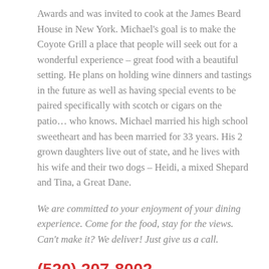Awards and was invited to cook at the James Beard House in New York. Michael's goal is to make the Coyote Grill a place that people will seek out for a wonderful experience – great food with a beautiful setting. He plans on holding wine dinners and tastings in the future as well as having special events to be paired specifically with scotch or cigars on the patio… who knows. Michael married his high school sweetheart and has been married for 33 years. His 2 grown daughters live out of state, and he lives with his wife and their two dogs – Heidi, a mixed Shepard and Tina, a Great Dane.
We are committed to your enjoyment of your dining experience. Come for the food, stay for the views. Can't make it? We deliver! Just give us a call.
(520) 207-8002
Please join us for Happy Hour.